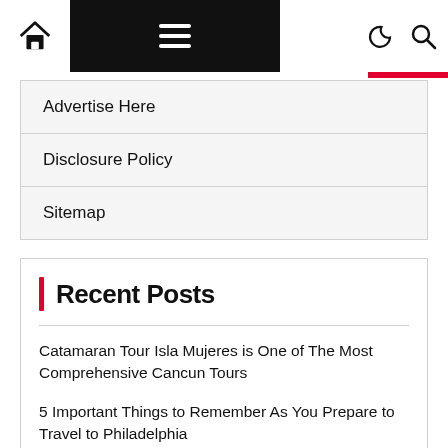Navigation bar with home icon, hamburger menu, dark/light mode toggle, search icon
Advertise Here
Disclosure Policy
Sitemap
Recent Posts
Catamaran Tour Isla Mujeres is One of The Most Comprehensive Cancun Tours
5 Important Things to Remember As You Prepare to Travel to Philadelphia
Diana Kennedy Celebrated Mexican Meals. Now,